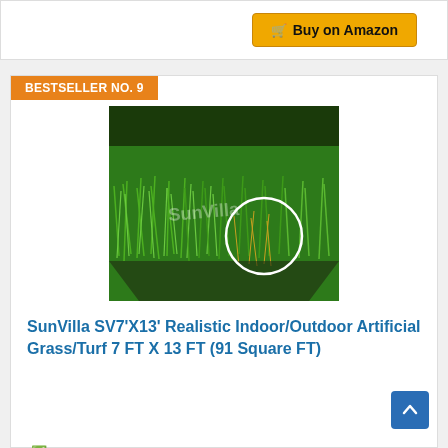Buy on Amazon
BESTSELLER NO. 9
[Figure (photo): SunVilla artificial grass/turf product photo showing a square patch of realistic green artificial grass with a white circle highlight detail, brand watermark visible]
SunVilla SV7'X13' Realistic Indoor/Outdoor Artificial Grass/Turf 7 FT X 13 FT (91 Square FT)
✅Premium quality: SunVilla is a marvelous, multi-purpose and very durable superior quality artificial grass/turf Brand, made of Advanced UV resistant Yarn, polyethylene fabric and durable latex